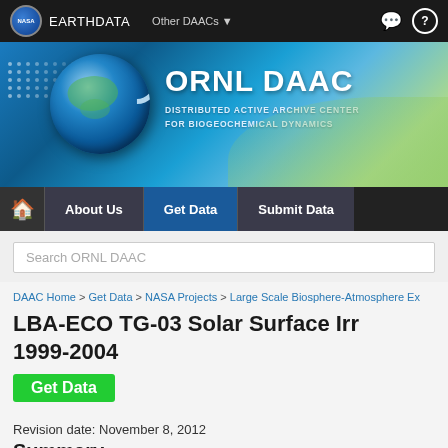[Figure (screenshot): NASA EarthData top navigation bar with NASA logo, EARTHDATA branding, Other DAACs dropdown, chat and help icons]
[Figure (screenshot): ORNL DAAC banner with globe graphic, ORNL DAAC title text, Distributed Active Archive Center for Biogeochemical Dynamics subtitle, and terrain/earth imagery]
[Figure (screenshot): Sub-navigation bar with home icon, About Us, Get Data (active), and Submit Data tabs]
Search ORNL DAAC
DAAC Home > Get Data > NASA Projects > Large Scale Biosphere-Atmosphere Ex
LBA-ECO TG-03 Solar Surface Irr 1999-2004
Get Data
Revision date: November 8, 2012
Summary